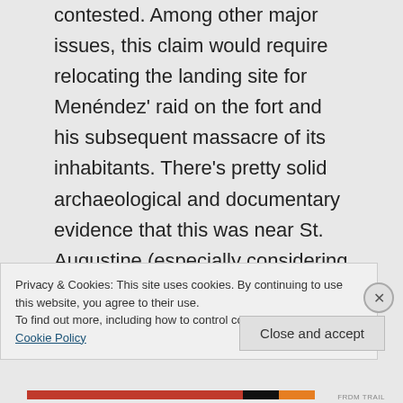expect this claim to remain hotly contested. Among other major issues, this claim would require relocating the landing site for Menéndez' raid on the fort and his subsequent massacre of its inhabitants. There's pretty solid archaeological and documentary evidence that this was near St. Augustine (especially considering the expedition built the first fort at
Privacy & Cookies: This site uses cookies. By continuing to use this website, you agree to their use.
To find out more, including how to control cookies, see here: Cookie Policy
Close and accept